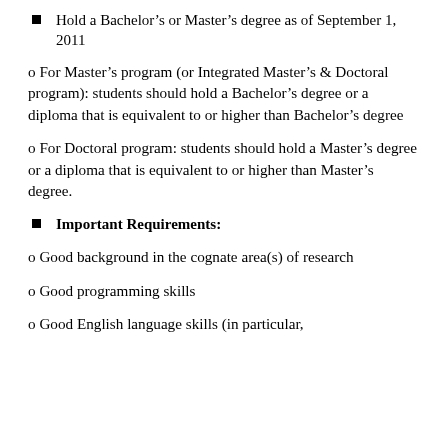Hold a Bachelor's or Master's degree as of September 1, 2011
o For Master's program (or Integrated Master's & Doctoral program): students should hold a Bachelor's degree or a diploma that is equivalent to or higher than Bachelor's degree
o For Doctoral program: students should hold a Master's degree or a diploma that is equivalent to or higher than Master's degree.
Important Requirements:
o Good background in the cognate area(s) of research
o Good programming skills
o Good English language skills (in particular,